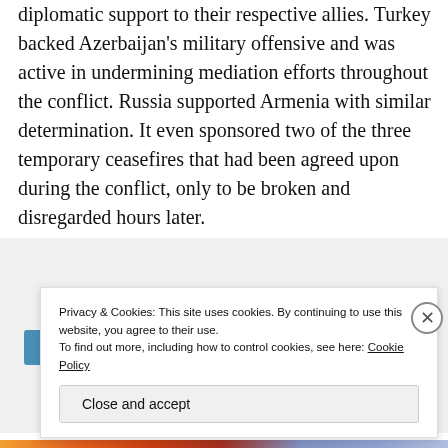diplomatic support to their respective allies. Turkey backed Azerbaijan's military offensive and was active in undermining mediation efforts throughout the conflict. Russia supported Armenia with similar determination. It even sponsored two of the three temporary ceasefires that had been agreed upon during the conflict, only to be broken and disregarded hours later.
[Figure (infographic): Advertisement banner with text 'Build a better web and a better world.' with an Apply button and a circular photo of a man thinking.]
Privacy & Cookies: This site uses cookies. By continuing to use this website, you agree to their use.
To find out more, including how to control cookies, see here: Cookie Policy